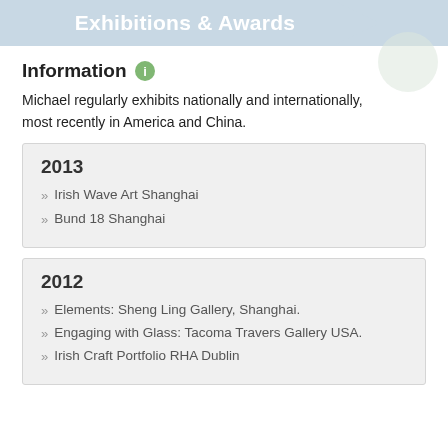Exhibitions & Awards
Information
Michael regularly exhibits nationally and internationally, most recently in America and China.
2013
Irish Wave Art Shanghai
Bund 18 Shanghai
2012
Elements: Sheng Ling Gallery, Shanghai.
Engaging with Glass: Tacoma Travers Gallery USA.
Irish Craft Portfolio RHA Dublin